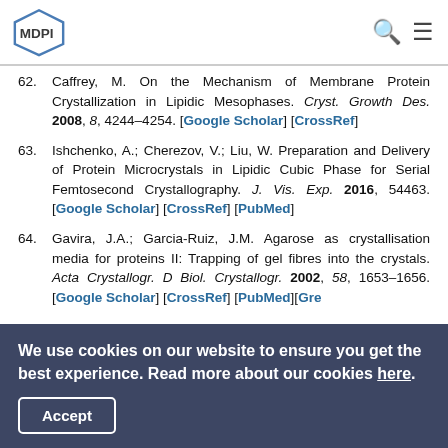MDPI logo with search and menu icons
62. Caffrey, M. On the Mechanism of Membrane Protein Crystallization in Lipidic Mesophases. Cryst. Growth Des. 2008, 8, 4244–4254. [Google Scholar] [CrossRef]
63. Ishchenko, A.; Cherezov, V.; Liu, W. Preparation and Delivery of Protein Microcrystals in Lipidic Cubic Phase for Serial Femtosecond Crystallography. J. Vis. Exp. 2016, 54463. [Google Scholar] [CrossRef] [PubMed]
64. Gavira, J.A.; Garcia-Ruiz, J.M. Agarose as crystallisation media for proteins II: Trapping of gel fibres into the crystals. Acta Crystallogr. D Biol. Crystallogr. 2002, 58, 1653–1656. [Google Scholar] [CrossRef] [PubMed][Gre
We use cookies on our website to ensure you get the best experience. Read more about our cookies here.